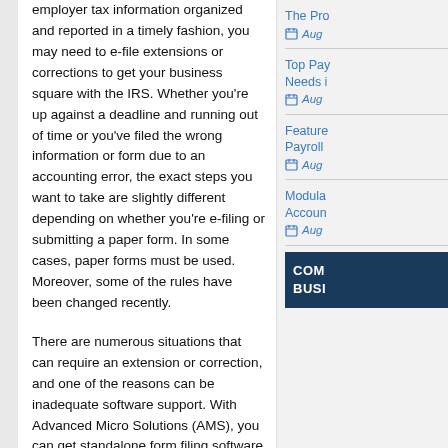employer tax information organized and reported in a timely fashion, you may need to e-file extensions or corrections to get your business square with the IRS. Whether you're up against a deadline and running out of time or you've filed the wrong information or form due to an accounting error, the exact steps you want to take are slightly different depending on whether you're e-filing or submitting a paper form. In some cases, paper forms must be used. Moreover, some of the rules have been changed recently.
There are numerous situations that can require an extension or correction, and one of the reasons can be inadequate software support. With Advanced Micro Solutions (AMS), you can get standalone form filing software or a comprehensive payroll suite. This includes support for Form 8809 (application for extension) and 941-X for corrections to payroll reporting and payments. With this in mind, we wanted to
The Pro...  Aug
Top Pay... Needs i...  Aug
Feature... Payroll ...  Aug
Modula... Accoun...  Aug
COM... BUSI...